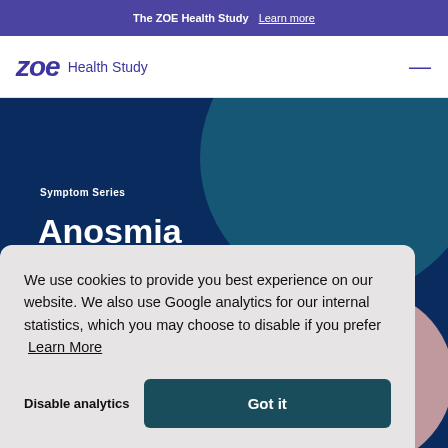The ZOE Health Study  Learn more
[Figure (logo): ZOE Health Study logo with stylized italic 'zoe' text and 'Health Study' subtitle]
[Figure (illustration): Dark navy blue banner with 'Symptom Series / Anosmia' text, decorative teal and pink circles]
We use cookies to provide you best experience on our website. We also use Google analytics for our internal statistics, which you may choose to disable if you prefer  Learn More
Disable analytics   Got it